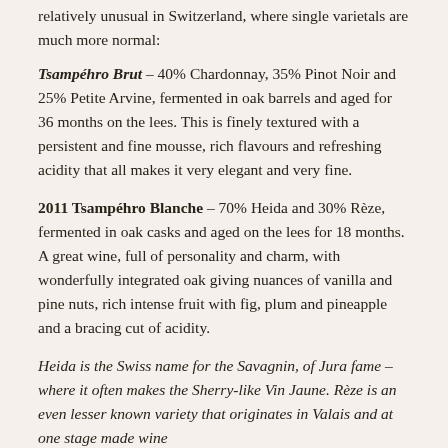relatively unusual in Switzerland, where single varietals are much more normal:
Tsampéhro Brut – 40% Chardonnay, 35% Pinot Noir and 25% Petite Arvine, fermented in oak barrels and aged for 36 months on the lees. This is finely textured with a persistent and fine mousse, rich flavours and refreshing acidity that all makes it very elegant and very fine.
2011 Tsampéhro Blanche – 70% Heida and 30% Rèze, fermented in oak casks and aged on the lees for 18 months. A great wine, full of personality and charm, with wonderfully integrated oak giving nuances of vanilla and pine nuts, rich intense fruit with fig, plum and pineapple and a bracing cut of acidity.
Heida is the Swiss name for the Savagnin, of Jura fame – where it often makes the Sherry-like Vin Jaune. Rèze is an even lesser known variety that originates in Valais and at one stage made wine